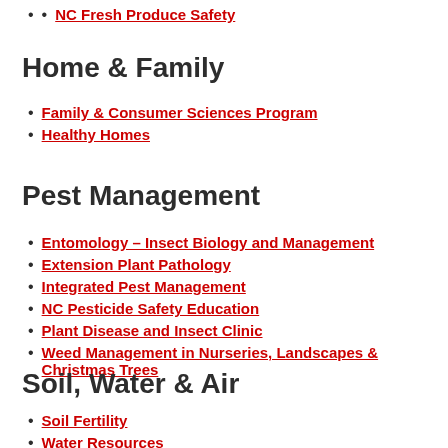NC Fresh Produce Safety
Home & Family
Family & Consumer Sciences Program
Healthy Homes
Pest Management
Entomology – Insect Biology and Management
Extension Plant Pathology
Integrated Pest Management
NC Pesticide Safety Education
Plant Disease and Insect Clinic
Weed Management in Nurseries, Landscapes & Christmas Trees
Soil, Water & Air
Soil Fertility
Water Resources